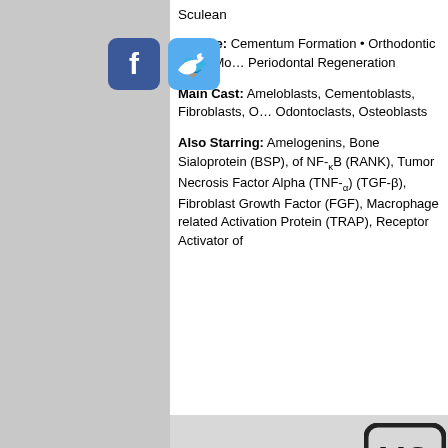[Figure (logo): Facebook and Twitter social media icons (blue rounded square icons)]
Sculean
Outline: Cementum Formation • Orthodontic Tooth Movement • Periodontal Regeneration
Main Cast: Ameloblasts, Cementoblasts, Fibroblasts, Odontoclasts, Osteoblasts
Also Starring: Amelogenins, Bone Sialoprotein (BSP), of NF-κB (RANK), Tumor Necrosis Factor Alpha (TNF-α), (TGF-β), Fibroblast Growth Factor (FGF), Macrophage related Activation Protein (TRAP), Receptor Activator of
[Figure (logo): VC logo (rounded square with VC text)]
Back to Publications
For Further
411 N
Batav
(630)
(630)
service@
© 2022 Quinte
HOME | SUBSCRIPTION SERVICES | TERMS OF USE | PRIVACY POLICY | ABOUT US |